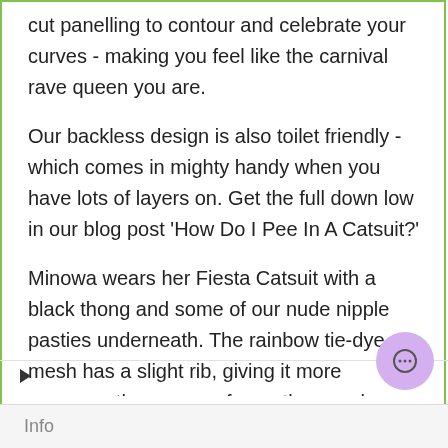cut panelling to contour and celebrate your curves - making you feel like the carnival rave queen you are.
Our backless design is also toilet friendly - which comes in mighty handy when you have lots of layers on. Get the full down low in our blog post 'How Do I Pee In A Catsuit?'
Minowa wears her Fiesta Catsuit with a black thong and some of our nude nipple pasties underneath. The rainbow tie-dye mesh has a slight rib, giving it more coverage than some of our other meshes.
Info